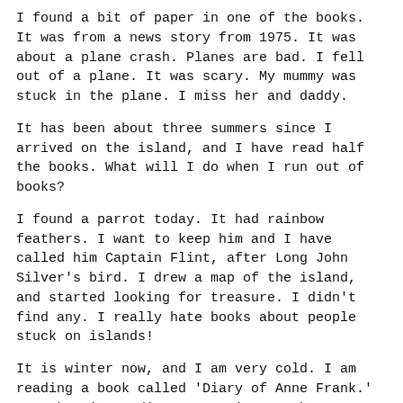I found a bit of paper in one of the books. It was from a news story from 1975. It was about a plane crash. Planes are bad. I fell out of a plane. It was scary. My mummy was stuck in the plane. I miss her and daddy.
It has been about three summers since I arrived on the island, and I have read half the books. What will I do when I run out of books?
I found a parrot today. It had rainbow feathers. I want to keep him and I have called him Captain Flint, after Long John Silver's bird. I drew a map of the island, and started looking for treasure. I didn't find any. I really hate books about people stuck on islands!
It is winter now, and I am very cold. I am reading a book called 'Diary of Anne Frank.' I am keeping a diary too. I'm not the unluckiest person who ever lived, I used to think I was. I lost my mum, and it hurt me so much, but Otto Frank lost his whole family. At least my daddy is alive, somewhere. Maybe he thinks I am dead.